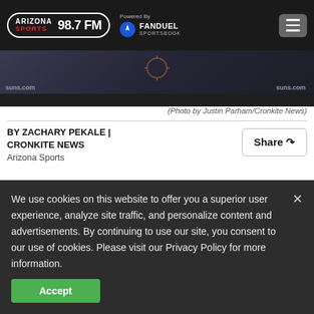Arizona Sports 98.7 FM | Powered By FanDuel Sportsbook
[Figure (photo): Partial view of a Suns press conference or arena scene with suns.com branding visible]
(Photo by Justin Parham/Cronkite News)
BY ZACHARY PEKALE | CRONKITE NEWS
Arizona Sports
PHOENIX — The expectations that come with
We use cookies on this website to offer you a superior user experience, analyze site traffic, and personalize content and advertisements. By continuing to use our site, you consent to our use of cookies. Please visit our Privacy Policy for more information.